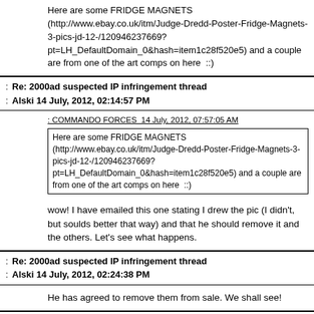Here are some FRIDGE MAGNETS (http://www.ebay.co.uk/itm/Judge-Dredd-Poster-Fridge-Magnets-3-pics-jd-12-/120946237669?pt=LH_DefaultDomain_0&hash=item1c28f520e5) and a couple are from one of the art comps on here ::)
: Re: 2000ad suspected IP infringement thread
: Alski 14 July, 2012, 02:14:57 PM
: COMMANDO FORCES 14 July, 2012, 07:57:05 AM
Here are some FRIDGE MAGNETS (http://www.ebay.co.uk/itm/Judge-Dredd-Poster-Fridge-Magnets-3-pics-jd-12-/120946237669?pt=LH_DefaultDomain_0&hash=item1c28f520e5) and a couple are from one of the art comps on here ::)
wow! I have emailed this one stating I drew the pic (I didn't, but soulds better that way) and that he should remove it and the others. Let's see what happens.
: Re: 2000ad suspected IP infringement thread
: Alski 14 July, 2012, 02:24:38 PM
He has agreed to remove them from sale. We shall see!
: Re: 2000ad suspected IP infringement thread
: The Enigmatic Dr X 27 July, 2012, 01:41:33 PM